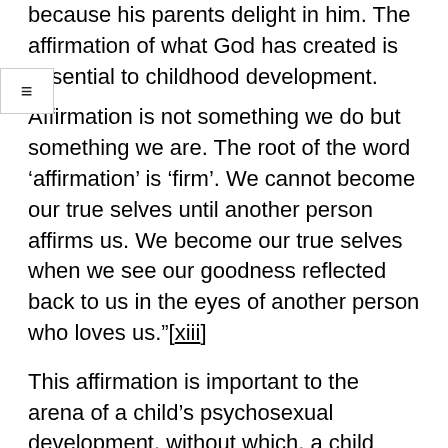because his parents delight in him. The affirmation of what God has created is essential to childhood development.
Affirmation is not something we do but something we are. The root of the word ‘affirmation’ is ‘firm’. We cannot become our true selves until another person affirms us. We become our true selves when we see our goodness reflected back to us in the eyes of another person who loves us.”[xiii]
This affirmation is important to the arena of a child’s psychosexual development, without which, a child could face a lot of confusion.
For Walt Heyer, a former self-identified “transgender woman”, it is important for parents to know the role that affirmation plays in their